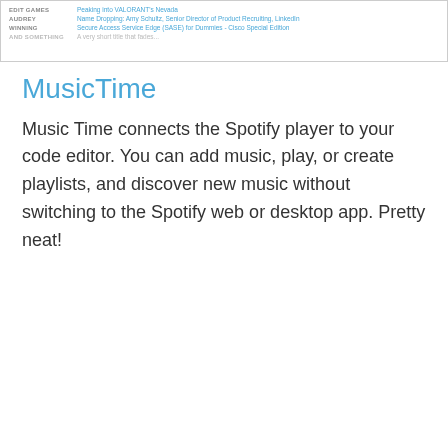| Category | Value |
| --- | --- |
| EDIT GAMES | Peaking into VALORANT's Nevada |
| AUDREY | Name Dropping: Amy Schultz, Senior Director of Product Recruiting, LinkedIn |
| WINNING | Secure Access Service Edge (SASE) for Dummies - Cisco Special Edition |
| ... | ... |
MusicTime
Music Time connects the Spotify player to your code editor. You can add music, play, or create playlists, and discover new music without switching to the Spotify web or desktop app. Pretty neat!